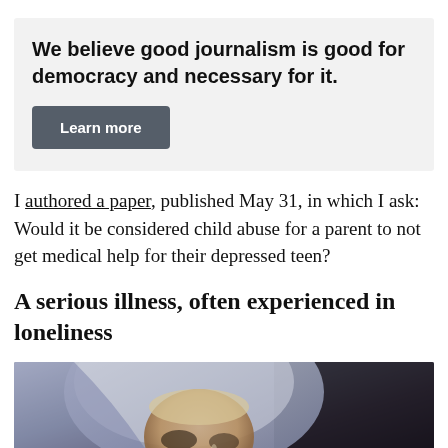We believe good journalism is good for democracy and necessary for it.
Learn more
I authored a paper, published May 31, in which I ask: Would it be considered child abuse for a parent to not get medical help for their depressed teen?
A serious illness, often experienced in loneliness
[Figure (photo): Close-up photo of a young person wearing a hoodie, face partially obscured, looking downward in a dark moody setting]